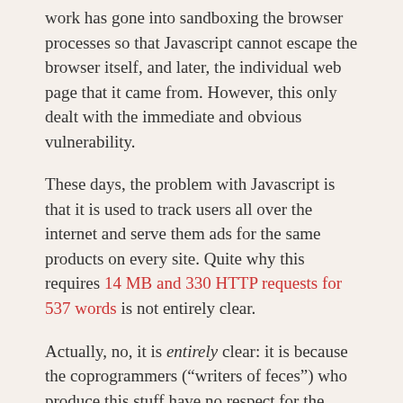work has gone into sandboxing the browser processes so that Javascript cannot escape the browser itself, and later, the individual web page that it came from. However, this only dealt with the immediate and obvious vulnerability.
These days, the problem with Javascript is that it is used to track users all over the internet and serve them ads for the same products on every site. Quite why this requires 14 MB and 330 HTTP requests for 537 words is not entirely clear.
Actually, no, it is entirely clear: it is because the coprogrammers ("writers of feces") who produce this stuff have no respect for the users. The same utter disrespect underlies the recent bloat in iOS apps:
One Friday I turned off auto-update for apps and let the update queue build up for a week. Then...